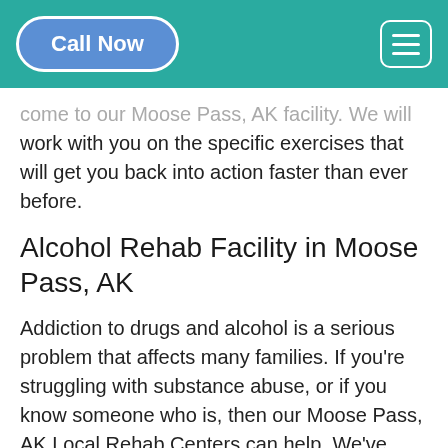Call Now | [menu]
come to our Moose Pass, AK facility. We will work with you on the specific exercises that will get you back into action faster than ever before.
Alcohol Rehab Facility in Moose Pass, AK
Addiction to drugs and alcohol is a serious problem that affects many families. If you're struggling with substance abuse, or if you know someone who is, then our Moose Pass, AK Local Rehab Centers can help. We've helped thousands of people overcome addiction and we'd like to help you too. Our Trusted Drug Rehab Center in Moose Pass, AK offers programs for both men and women that are designed specifically for your needs.